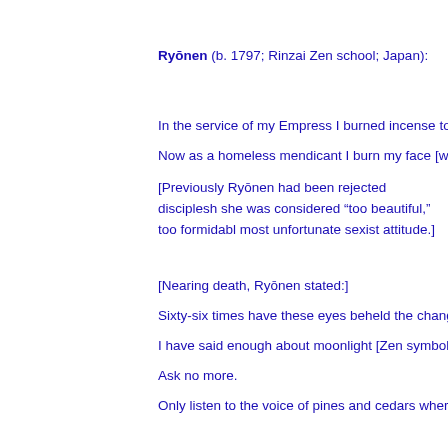Ryōnen (b. 1797; Rinzai Zen school; Japan):
In the service of my Empress I burned incense to
Now as a homeless mendicant I burn my face [w
[Previously Ryōnen had been rejected disciplesh she was considered “too beautiful,” too formidabl most unfortunate sexist attitude.]
[Nearing death, Ryōnen stated:]
Sixty-six times have these eyes beheld the chang
I have said enough about moonlight [Zen symbol
Ask no more.
Only listen to the voice of pines and cedars wher